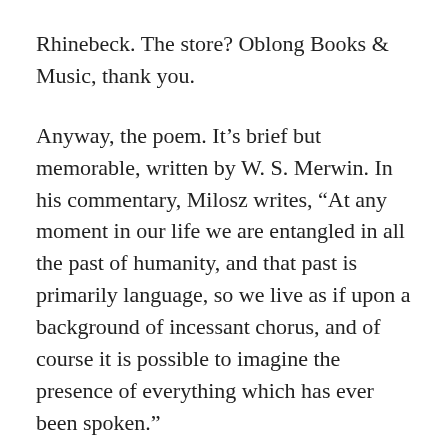Rhinebeck. The store? Oblong Books & Music, thank you.
Anyway, the poem. It’s brief but memorable, written by W. S. Merwin. In his commentary, Milosz writes, “At any moment in our life we are entangled in all the past of humanity, and that past is primarily language, so we live as if upon a background of incessant chorus, and of course it is possible to imagine the presence of everything which has ever been spoken.”
To see what Milosz means, you need only read Merwin’s eight-line meditation:
Utterance